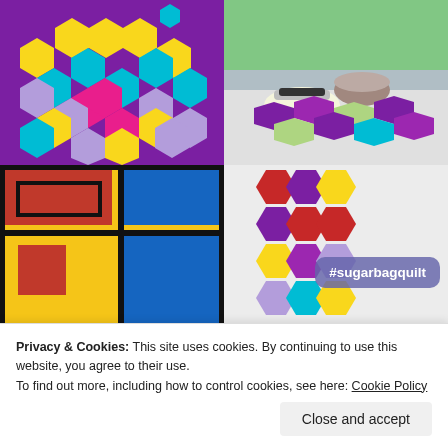[Figure (photo): Top-left: Close-up of a colorful hexagon quilt with purple, yellow, teal, pink, and lavender hexagonal shapes arranged in a flower pattern on a dark purple background.]
[Figure (photo): Top-right: Outdoor scene with a colorful hexagon quilt laid on a white table in a garden setting, with a hat and basket visible.]
[Figure (photo): Bottom-left: Close-up of a Mondrian-style quilt with bold rectangles of red, blue, and yellow on a yellow background, with black outlines.]
[Figure (photo): Bottom-right: Close-up of a vertical strip of hexagon quilt in dark red, purple, yellow, lavender, and teal colors, with a purple rounded-rectangle badge showing #sugarbagquilt in white text.]
Privacy & Cookies: This site uses cookies. By continuing to use this website, you agree to their use.
To find out more, including how to control cookies, see here: Cookie Policy
Close and accept